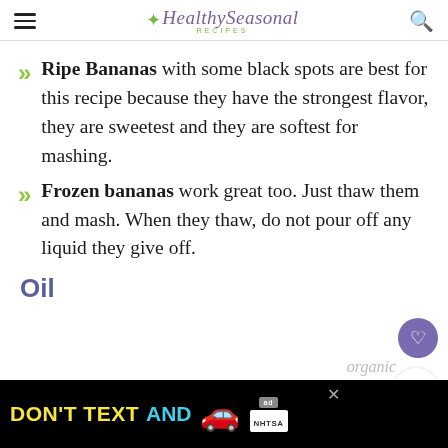Healthy Seasonal Recipes
Ripe Bananas with some black spots are best for this recipe because they have the strongest flavor, they are sweetest and they are softest for mashing.
Frozen bananas work great too. Just thaw them and mash. When they thaw, do not pour off any liquid they give off.
Oil
[Figure (other): Advertisement banner: DON'T TEXT AND [car emoji] with NHTSA branding]